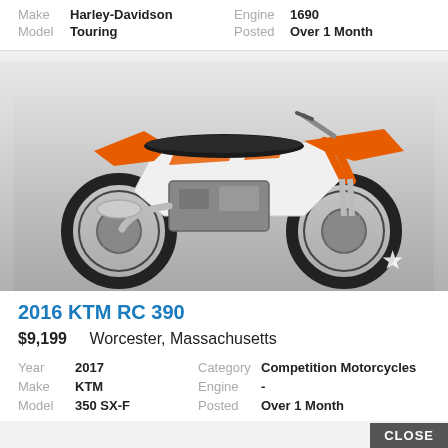| Make | Harley-Davidson | Engine | 1690 |
| Model | Touring | Posted | Over 1 Month |
[Figure (photo): KTM dirt bike / motocross motorcycle, orange and white, side profile view on gray gradient background]
2016 KTM RC 390
$9,199   Worcester, Massachusetts
| Year | 2017 | Category | Competition Motorcycles |
| Make | KTM | Engine | - |
| Model | 350 SX-F | Posted | Over 1 Month |
CLOSE